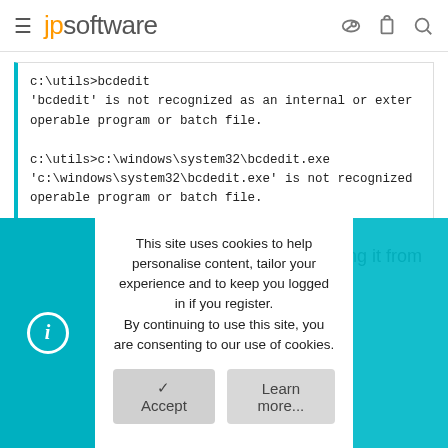jpsoftware
c:\utils>bcdedit
'bcdedit' is not recognized as an internal or external operable program or batch file.

c:\utils>c:\windows\system32\bcdedit.exe
'c:\windows\system32\bcdedit.exe' is not recognized as an internal or operable program or batch file.
bcdedit.exe only works if you are running it from 64-bit cmd.exe
This site uses cookies to help personalise content, tailor your experience and to keep you logged in if you register.
By continuing to use this site, you are consenting to our use of cookies.